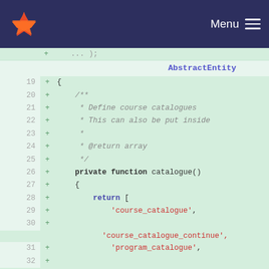Menu (GitLab navigation bar)
[Figure (screenshot): GitLab code diff view showing PHP code for a catalogue() function with line numbers 19-35, additions marked with +]
AbstractEntity
19 + {
20 +     /**
21 +      * Define course catalogues
22 +      * This can also be put inside
23 +      *
24 +      * @return array
25 +      */
26 +     private function catalogue()
27 +     {
28 +         return [
29 +             'course_catalogue',
30 + 'course_catalogue_continue',
31 +             'program_catalogue',
32 + 'program_catalogue_continue',
33 +         ];
34 +     }
35 +